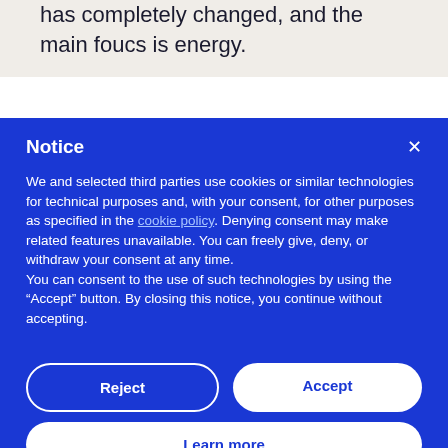has completely changed, and the main foucs is energy.
Notice
We and selected third parties use cookies or similar technologies for technical purposes and, with your consent, for other purposes as specified in the cookie policy. Denying consent may make related features unavailable. You can freely give, deny, or withdraw your consent at any time. You can consent to the use of such technologies by using the “Accept” button. By closing this notice, you continue without accepting.
Reject
Accept
Learn more